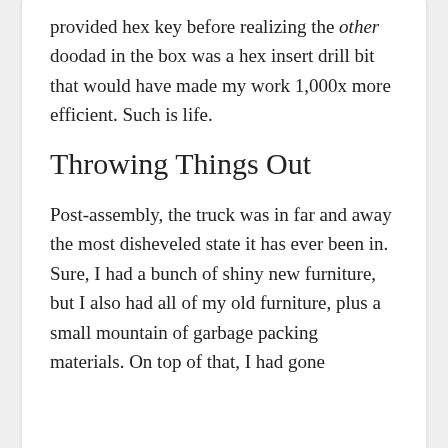provided hex key before realizing the other doodad in the box was a hex insert drill bit that would have made my work 1,000x more efficient. Such is life.
Throwing Things Out
Post-assembly, the truck was in far and away the most disheveled state it has ever been in. Sure, I had a bunch of shiny new furniture, but I also had all of my old furniture, plus a small mountain of garbage packing materials. On top of that, I had gone